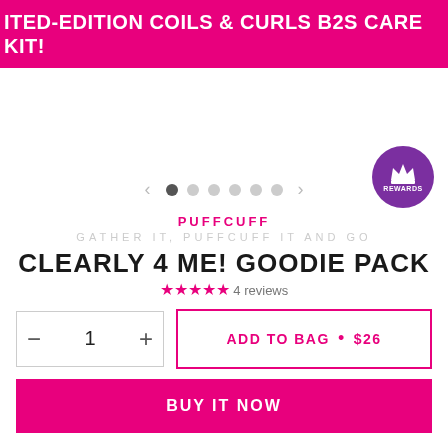ITED-EDITION COILS & CURLS B2S CARE KIT!
[Figure (screenshot): Product image carousel area with navigation arrows and 6 dots (first dot active). Purple rewards badge with crown icon in bottom-right.]
PUFFCUFF
GATHER IT, PUFFCUFF IT AND GO
CLEARLY 4 ME! GOODIE PACK
4 reviews
ADD TO BAG • $26
BUY IT NOW